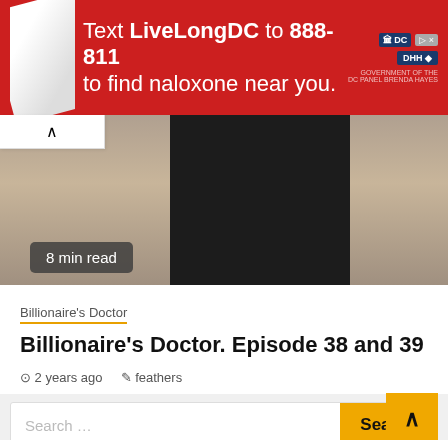[Figure (infographic): Red advertisement banner: Text LiveLongDC to 888-811 to find naloxone near you. DC and DHH logos on right side.]
[Figure (photo): Partial hero image showing a person in dark clothing against a light background. Badge reading '8 min read'.]
Billionaire's Doctor
Billionaire's Doctor. Episode 38 and 39
2 years ago   feathers
[Figure (screenshot): Search bar with placeholder text 'Search ...' and a yellow 'Search' button]
BRIGHT TRAVEL VISA AND